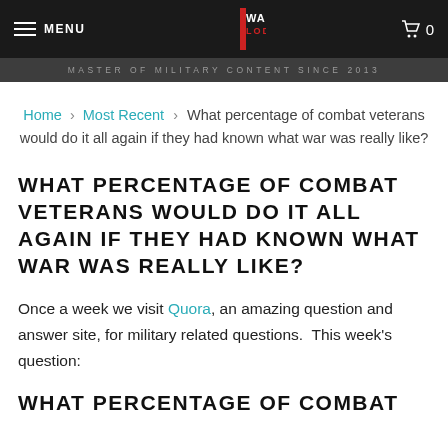MENU | WARRIOR LODGE | 0
MASTER OF MILITARY CONTENT SINCE 2013
Home › Most Recent › What percentage of combat veterans would do it all again if they had known what war was really like?
WHAT PERCENTAGE OF COMBAT VETERANS WOULD DO IT ALL AGAIN IF THEY HAD KNOWN WHAT WAR WAS REALLY LIKE?
Once a week we visit Quora, an amazing question and answer site, for military related questions.  This week's question:
WHAT PERCENTAGE OF COMBAT